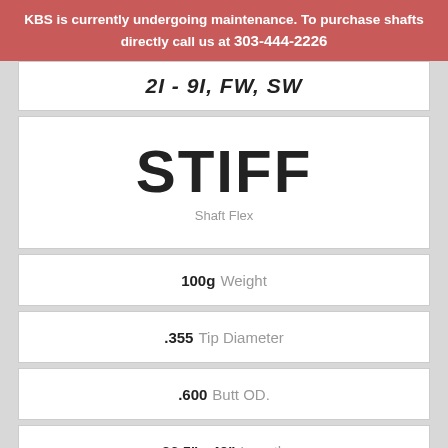KBS is currently undergoing maintenance. To purchase shafts directly call us at 303-444-2226
2I - 9I, FW, SW
STIFF
Shaft Flex
100g Weight
.355 Tip Diameter
.600 Butt OD.
36.5" - 40" Length